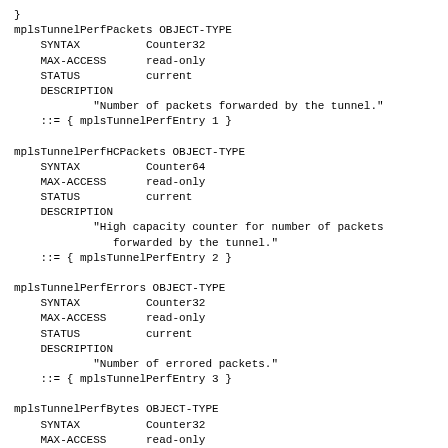}
mplsTunnelPerfPackets OBJECT-TYPE
    SYNTAX          Counter32
    MAX-ACCESS      read-only
    STATUS          current
    DESCRIPTION
            "Number of packets forwarded by the tunnel."
    ::= { mplsTunnelPerfEntry 1 }
mplsTunnelPerfHCPackets OBJECT-TYPE
    SYNTAX          Counter64
    MAX-ACCESS      read-only
    STATUS          current
    DESCRIPTION
            "High capacity counter for number of packets
               forwarded by the tunnel."
    ::= { mplsTunnelPerfEntry 2 }
mplsTunnelPerfErrors OBJECT-TYPE
    SYNTAX          Counter32
    MAX-ACCESS      read-only
    STATUS          current
    DESCRIPTION
            "Number of errored packets."
    ::= { mplsTunnelPerfEntry 3 }
mplsTunnelPerfBytes OBJECT-TYPE
    SYNTAX          Counter32
    MAX-ACCESS      read-only
    STATUS          current